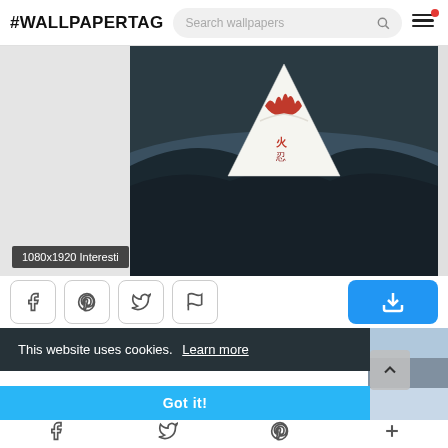#WALLPAPERTAG
[Figure (screenshot): Wallpaper website screenshot showing a Japanese-style illustration of Mount Fuji with red peak and dark background, labeled 1080x1920 Interesti]
1080x1920 Interesti
[Figure (other): Social share buttons: Facebook, Pinterest, Twitter, Flag; and a blue download button]
This website uses cookies.  Learn more
Got it!